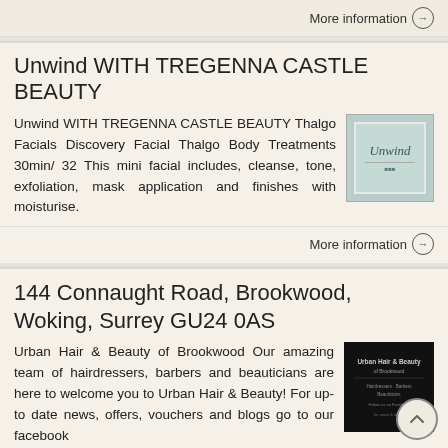More information →
Unwind WITH TREGENNA CASTLE BEAUTY
Unwind WITH TREGENNA CASTLE BEAUTY Thalgo Facials Discovery Facial Thalgo Body Treatments 30min/ 32 This mini facial includes, cleanse, tone, exfoliation, mask application and finishes with moisturise.
[Figure (illustration): Unwind brand image with cursive text on teal/green background with white border]
More information →
144 Connaught Road, Brookwood, Woking, Surrey GU24 0AS
Urban Hair & Beauty of Brookwood Our amazing team of hairdressers, barbers and beauticians are here to welcome you to Urban Hair & Beauty! For up-to date news, offers, vouchers and blogs go to our facebook
[Figure (photo): Dark background image with white text for Urban Hair & Beauty of Brookwood]